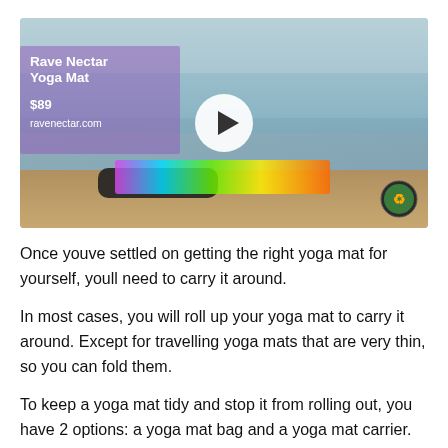[Figure (screenshot): Video thumbnail showing a man on a dock with a colorful yoga mat and a dog, with overlay text: Rave Nectar Yoga Mat, $89, ravenectar.com, and a play button in the center]
Once youve settled on getting the right yoga mat for yourself, youll need to carry it around.
In most cases, you will roll up your yoga mat to carry it around. Except for travelling yoga mats that are very thin, so you can fold them.
To keep a yoga mat tidy and stop it from rolling out, you have 2 options: a yoga mat bag and a yoga mat carrier.